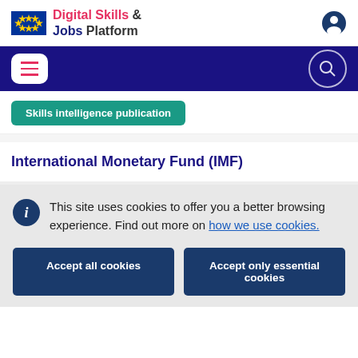Digital Skills & Jobs Platform
[Figure (logo): EU flag and site logo with hamburger menu and search icon]
Skills intelligence publication
International Monetary Fund (IMF)
This site uses cookies to offer you a better browsing experience. Find out more on how we use cookies.
Accept all cookies
Accept only essential cookies